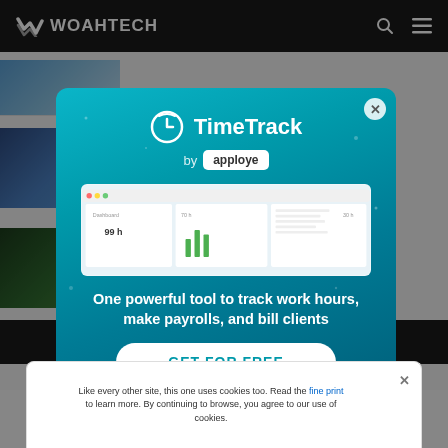WOAHTECH
[Figure (screenshot): WoahTech website background showing article thumbnails and partial content]
[Figure (screenshot): TimeTrack by Apploye modal advertisement popup with dashboard screenshot, tagline 'One powerful tool to track work hours, make payrolls, and bill clients', and GET FOR FREE button]
Like every other site, this one uses cookies too. Read the fine print to learn more. By continuing to browse, you agree to our use of cookies.
Federal Solar Tax Credit in 2022-2023: A